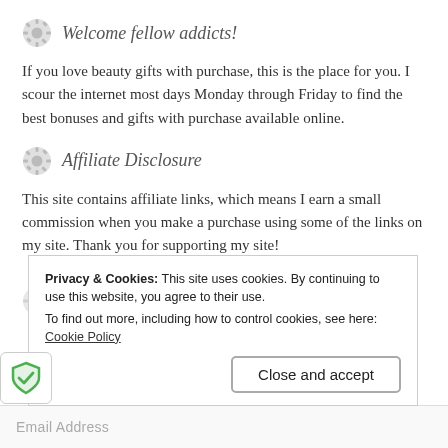Welcome fellow addicts!
If you love beauty gifts with purchase, this is the place for you. I scour the internet most days Monday through Friday to find the best bonuses and gifts with purchase available online.
Affiliate Disclosure
This site contains affiliate links, which means I earn a small commission when you make a purchase using some of the links on my site. Thank you for supporting my site!
Subscribe to Blog via Email
Privacy & Cookies: This site uses cookies. By continuing to use this website, you agree to their use.
To find out more, including how to control cookies, see here: Cookie Policy
Close and accept
Email Address